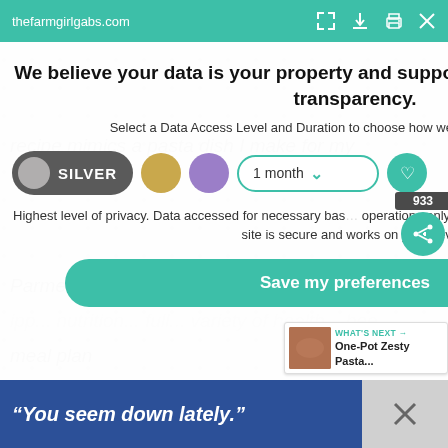thefarmgirlgabs.com
We believe your data is your property and support your right to privacy and transparency.
Select a Data Access Level and Duration to choose how we use and share your data.
SILVER | 1 month
Highest level of privacy. Data accessed for necessary basic operations only. Data shared with 3rd parties to ensure the site is secure and works on your device
Save my preferences
933
WHAT'S NEXT → One-Pot Zesty Pasta...
“You seem down lately.”